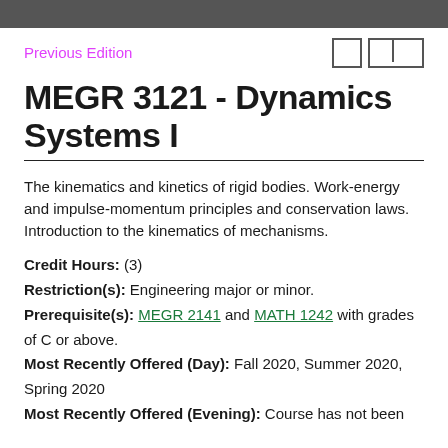Previous Edition
MEGR 3121 - Dynamics Systems I
The kinematics and kinetics of rigid bodies. Work-energy and impulse-momentum principles and conservation laws. Introduction to the kinematics of mechanisms.
Credit Hours: (3)
Restriction(s): Engineering major or minor.
Prerequisite(s): MEGR 2141 and MATH 1242 with grades of C or above.
Most Recently Offered (Day): Fall 2020, Summer 2020, Spring 2020
Most Recently Offered (Evening): Course has not been